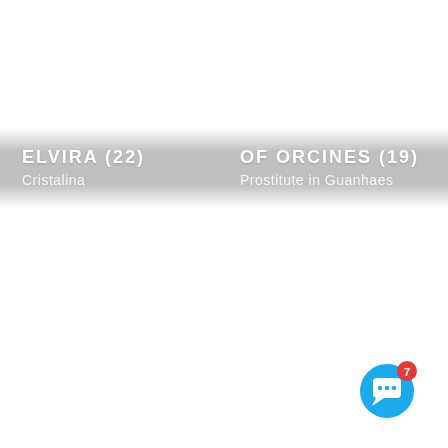ELVIRA (22)
Cristalina
OF ORCINES (19)
Prostitute in Guanhaes
[Figure (illustration): Chat button icon — blue circle with white speech bubble and red notification badge showing number 7]